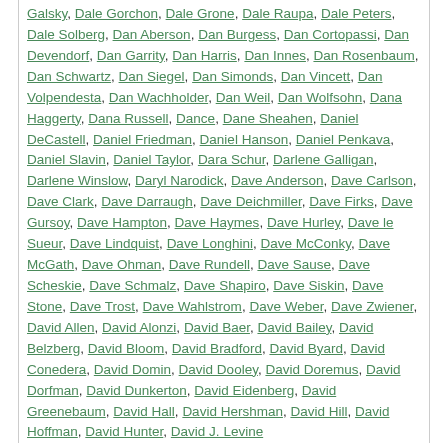Galsky, Dale Gorchon, Dale Grone, Dale Raupa, Dale Peters, Dale Solberg, Dan Aberson, Dan Burgess, Dan Cortopassi, Dan Devendorf, Dan Garrity, Dan Harris, Dan Innes, Dan Rosenbaum, Dan Schwartz, Dan Siegel, Dan Simonds, Dan Vincett, Dan Volpendesta, Dan Wachholder, Dan Weil, Dan Wolfsohn, Dana Haggerty, Dana Russell, Dance, Dane Sheahen, Daniel DeCastell, Daniel Friedman, Daniel Hanson, Daniel Penkava, Daniel Slavin, Daniel Taylor, Dara Schur, Darlene Galligan, Darlene Winslow, Daryl Narodick, Dave Anderson, Dave Carlson, Dave Clark, Dave Darraugh, Dave Deichmiller, Dave Firks, Dave Gursoy, Dave Hampton, Dave Haymes, Dave Hurley, Dave le Sueur, Dave Lindquist, Dave Longhini, Dave McConky, Dave McGath, Dave Ohman, Dave Rundell, Dave Sause, Dave Scheskie, Dave Schmalz, Dave Shapiro, Dave Siskin, Dave Stone, Dave Trost, Dave Wahlstrom, Dave Weber, Dave Zwiener, David Allen, David Alonzi, David Baer, David Bailey, David Belzberg, David Bloom, David Bradford, David Byard, David Conedera, David Domin, David Dooley, David Doremus, David Dorfman, David Dunkerton, David Eidenberg, David Greenebaum, David Hall, David Hershman, David Hill, David Hoffman, David Hunter, David J. Levine